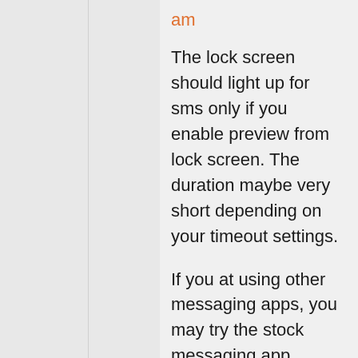am
The lock screen should light up for sms only if you enable preview from lock screen. The duration maybe very short depending on your timeout settings.
If you at using other messaging apps, you may try the stock messaging app.